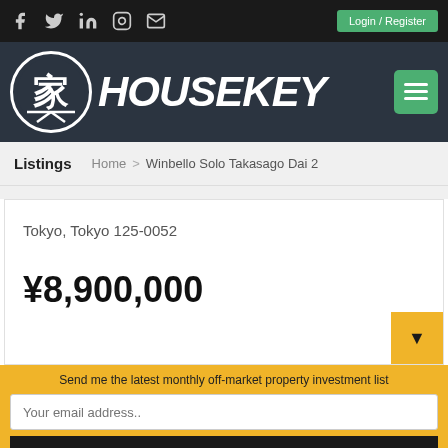Social icons bar with Facebook, Twitter, LinkedIn, Instagram, Email, Login/Register
[Figure (logo): HouseKey logo with Japanese character in circle and bold italic text HOUSEKEY, green hamburger menu button]
Listings  Home > Winbello Solo Takasago Dai 2
Tokyo, Tokyo 125-0052
¥8,900,000
Send me the latest monthly off-market property investment list
Your email address..
SUBSCRIBE